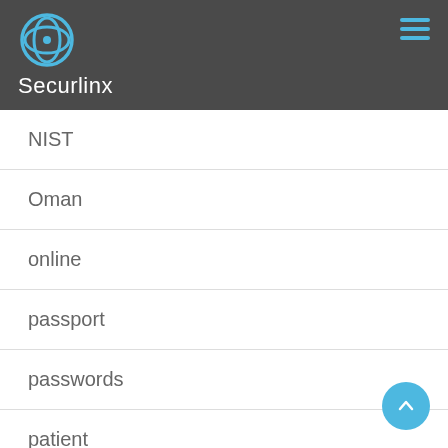Securlinx
NIST
Oman
online
passport
passwords
patient
payments
Poland